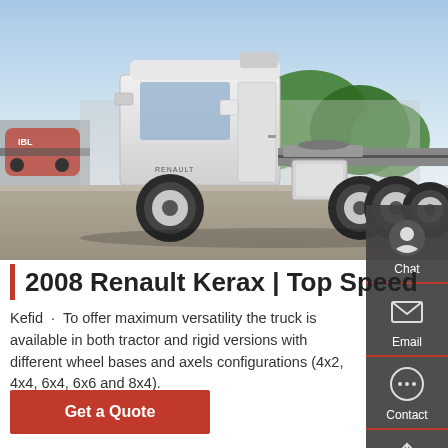[Figure (photo): Side view of a white 2008 Renault Kerax heavy truck/tractor unit parked outdoors, with green trees and blue sky in the background, and a red tanker truck visible on the left.]
2008 Renault Kerax | Top Speed
Kefid · To offer maximum versatility the truck is available in both tractor and rigid versions with different wheel bases and axels configurations (4x2, 4x4, 6x4, 6x6 and 8x4).
Get a Quote